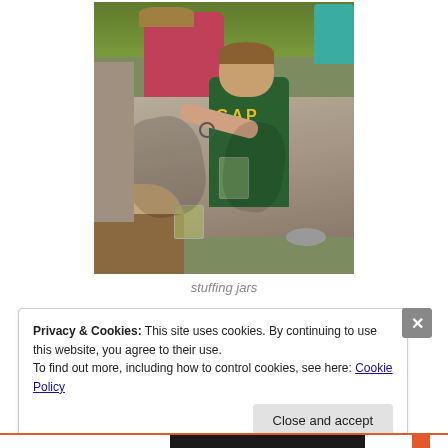[Figure (photo): Children and an adult around a wooden picnic table outdoors, stuffing jars with plants/greens. Green grass visible in background. A boy in a green GAP shirt is in the foreground.]
stuffing jars
Privacy & Cookies: This site uses cookies. By continuing to use this website, you agree to their use.
To find out more, including how to control cookies, see here: Cookie Policy
Close and accept